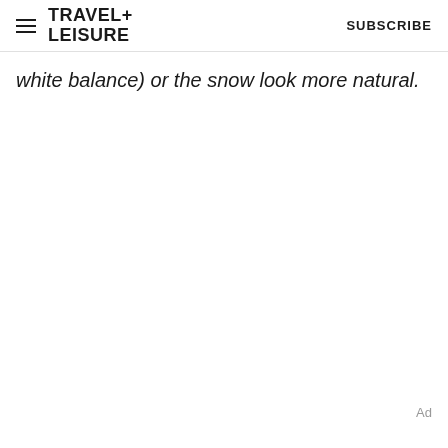TRAVEL+ LEISURE  SUBSCRIBE
white balance) or the snow look more natural.
Ad